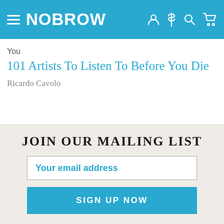NOBROW
101 Artists To Listen To Before You Die
Ricardo Cavolo
JOIN OUR MAILING LIST
Your email address
SIGN UP NOW